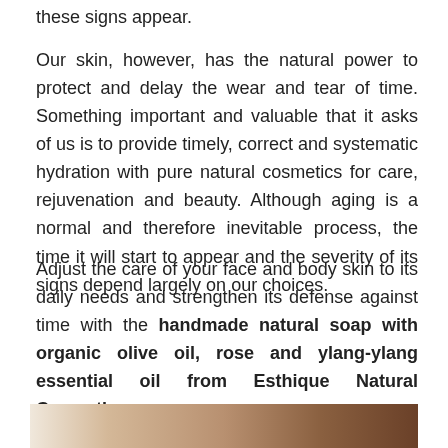these signs appear.
Our skin, however, has the natural power to protect and delay the wear and tear of time. Something important and valuable that it asks of us is to provide timely, correct and systematic hydration with pure natural cosmetics for care, rejuvenation and beauty. Although aging is a normal and therefore inevitable process, the time it will start to appear and the severity of its signs depend largely on our choices.
Adjust the care of your face and body skin to its daily needs and strengthen its defense against time with the handmade natural soap with organic olive oil, rose and ylang-ylang essential oil from Esthique Natural Cosmetics.
[Figure (photo): Bottom strip of a product photo showing natural soap, partially visible]